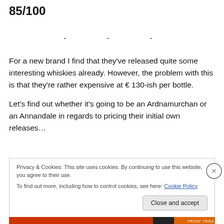85/100
. . .
For a new brand I find that they've released quite some interesting whiskies already. However, the problem with this is that they're rather expensive at € 130-ish per bottle.

Let's find out whether it's going to be an Ardnamurchan or an Annandale in regards to pricing their initial own releases…
Privacy & Cookies: This site uses cookies. By continuing to use this website, you agree to their use.
To find out more, including how to control cookies, see here: Cookie Policy
Close and accept